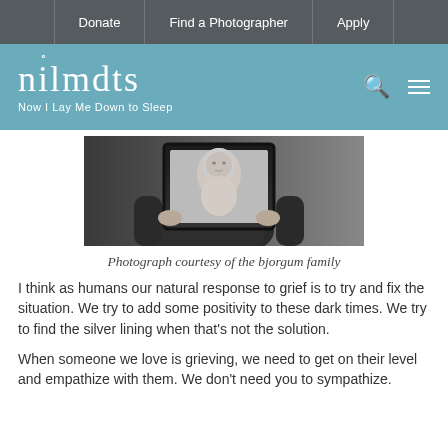Donate | Find a Photographer | Apply
[Figure (logo): NILMDTS (Now I Lay Me Down to Sleep) logo with angel halo over the 'i', on a teal/blue background. Search and menu icons on the right.]
[Figure (photo): Black and white photograph of a person holding a framed portrait of a baby/newborn, held up in front of them.]
Photograph courtesy of the bjorgum family
I think as humans our natural response to grief is to try and fix the situation. We try to add some positivity to these dark times. We try to find the silver lining when that's not the solution.
When someone we love is grieving, we need to get on their level and empathize with them. We don't need you to sympathize.